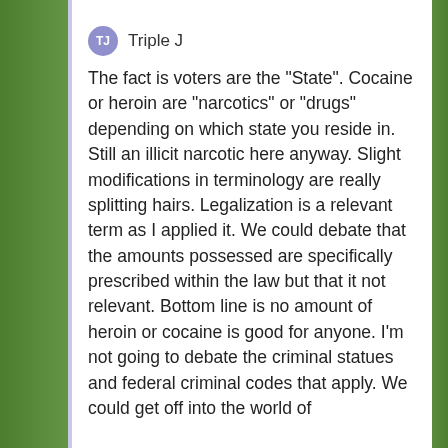[Figure (screenshot): Green blurred background visible on left and right sides of the page, with a white comment card overlaid in the center-right area.]
TJ Triple J
The fact is voters are the "State". Cocaine or heroin are "narcotics" or "drugs" depending on which state you reside in. Still an illicit narcotic here anyway. Slight modifications in terminology are really splitting hairs. Legalization is a relevant term as I applied it. We could debate that the amounts possessed are specifically prescribed within the law but that it not relevant. Bottom line is no amount of heroin or cocaine is good for anyone. I'm not going to debate the criminal statues and federal criminal codes that apply. We could get off into the world of